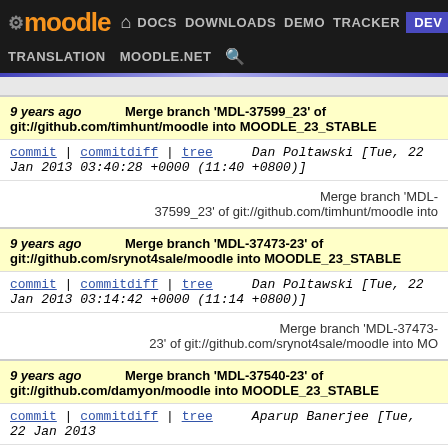moodle DOCS DOWNLOADS DEMO TRACKER DEV TRANSLATION MOODLE.NET
9 years ago   Merge branch 'MDL-37599_23' of git://github.com/timhunt/moodle into MOODLE_23_STABLE
commit | commitdiff | tree   Dan Poltawski [Tue, 22 Jan 2013 03:40:28 +0000 (11:40 +0800)]
Merge branch 'MDL-37599_23' of git://github.com/timhunt/moodle into
9 years ago   Merge branch 'MDL-37473-23' of git://github.com/srynot4sale/moodle into MOODLE_23_STABLE
commit | commitdiff | tree   Dan Poltawski [Tue, 22 Jan 2013 03:14:42 +0000 (11:14 +0800)]
Merge branch 'MDL-37473-23' of git://github.com/srynot4sale/moodle into MO
9 years ago   Merge branch 'MDL-37540-23' of git://github.com/damyon/moodle into MOODLE_23_STABLE
commit | commitdiff | tree   Aparup Banerjee [Tue, 22 Jan 2013